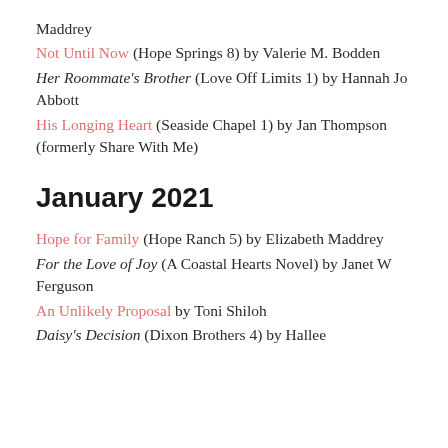Maddrey
Not Until Now (Hope Springs 8) by Valerie M. Bodden
Her Roommate's Brother (Love Off Limits 1) by Hannah Jo Abbott
His Longing Heart (Seaside Chapel 1) by Jan Thompson (formerly Share With Me)
January 2021
Hope for Family (Hope Ranch 5) by Elizabeth Maddrey
For the Love of Joy (A Coastal Hearts Novel) by Janet W Ferguson
An Unlikely Proposal by Toni Shiloh
Daisy's Decision (Dixon Brothers 4) by Hallee